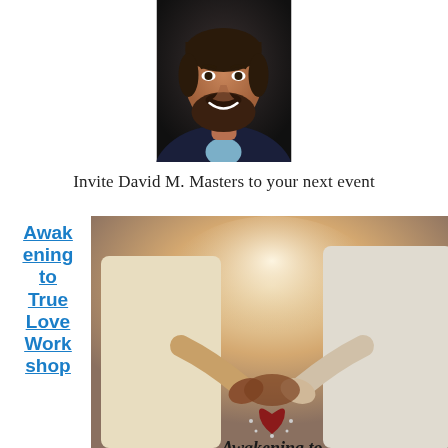[Figure (photo): Headshot portrait of a man with dark beard and hair, wearing a suit jacket, smiling, against a dark background]
Invite David M. Masters to your next event
Awakening to True Love Workshop
[Figure (photo): Book cover image showing two people holding hands with a heart, titled 'Awakening to True Love']